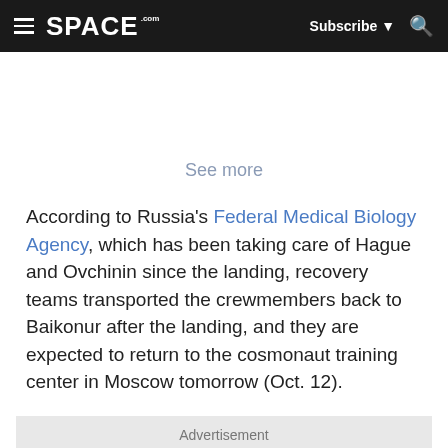SPACE.com — Subscribe ▼ 🔍
See more
According to Russia's Federal Medical Biology Agency, which has been taking care of Hague and Ovchinin since the landing, recovery teams transported the crewmembers back to Baikonur after the landing, and they are expected to return to the cosmonaut training center in Moscow tomorrow (Oct. 12).
Advertisement